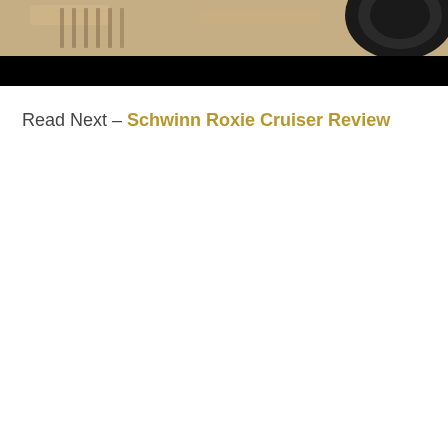[Figure (photo): A close-up photo of a bicycle tire on sandy ground with tire tread marks visible, with a black band at the bottom of the image area.]
Read Next – Schwinn Roxie Cruiser Review